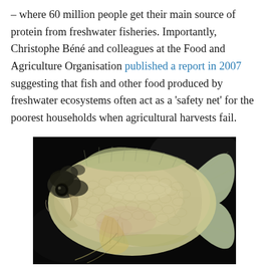– where 60 million people get their main source of protein from freshwater fisheries. Importantly, Christophe Béné and colleagues at the Food and Agriculture Organisation published a report in 2007 suggesting that fish and other food produced by freshwater ecosystems often act as a 'safety net' for the poorest households when agricultural harvests fail.
[Figure (photo): A large freshwater fish (gourami or similar species) with pale silvery-gold scales, dark patches near the head, and visible fins, photographed against a dark/black background in an aquarium setting.]